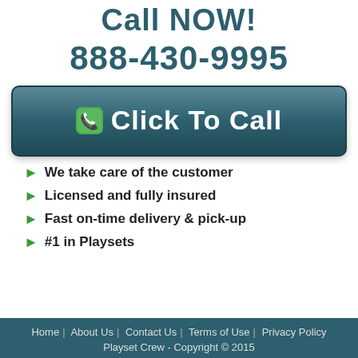Call NOW!
888-430-9995
[Figure (other): Large teal button with phone icon and text 'Click To Call']
We take care of the customer
Licensed and fully insured
Fast on-time delivery & pick-up
#1 in Playsets
Home | About Us | Contact Us | Terms of Use | Privacy Policy
Playset Crew - Copyright © 2015